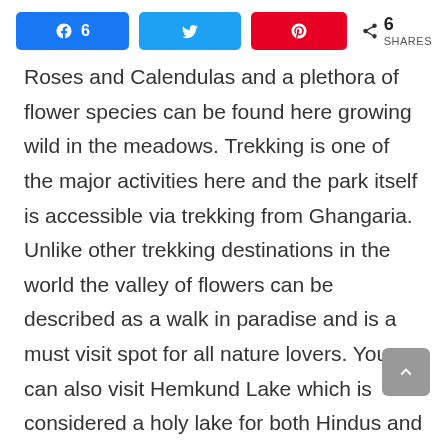6 [Facebook share] [Twitter share] [Pinterest share] < 6 SHARES
Roses and Calendulas and a plethora of flower species can be found here growing wild in the meadows. Trekking is one of the major activities here and the park itself is accessible via trekking from Ghangaria. Unlike other trekking destinations in the world the valley of flowers can be described as a walk in paradise and is a must visit spot for all nature lovers. You can also visit Hemkund Lake which is considered a holy lake for both Hindus and Sikhs.